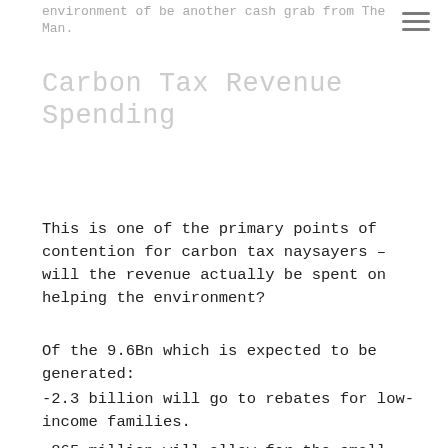environment of be another cash grab from The Man.
Carbon Tax Revenue Spending
This is one of the primary points of contention for carbon tax naysayers – will the revenue actually be spent on helping the environment?
Of the 9.6Bn which is expected to be generated:
-2.3 billion will go to rebates for low-income families.
-865 million will allow for the small business tax to be reduced by 33% from 3% to 2%.
-3.4 billion for large scale renewable energy and technology (like utility scale solar power)